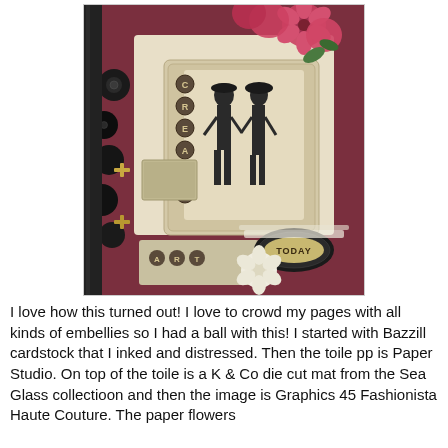[Figure (photo): A decorative handmade scrapbook or art journal page featuring red/pink paper flowers, black fabric flowers with buttons, vintage black and white fashion illustrations of two women, 'CREATE' spelled vertically with metal letter tiles, 'ART' and 'TODAY' labels, lace trim, gold cross charms, toile patterned paper, and various mixed media embellishments on a dark red cardstock background.]
I love how this turned out!  I love to crowd my pages with all kinds of embellies so I had a ball with this!  I started with Bazzill cardstock that I inked and distressed.  Then the toile pp is Paper Studio. On top of the toile is a  K & Co die cut mat from the Sea Glass collectioon and then the image is Graphics 45 Fashionista Haute Couture.  The paper flowers